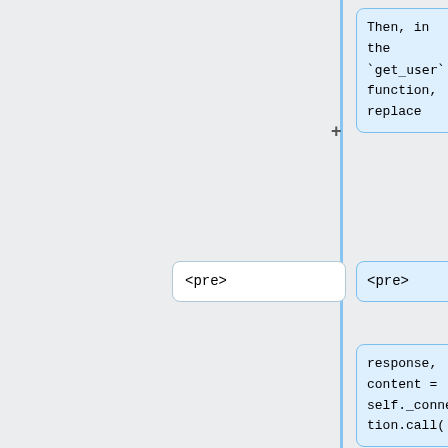[Figure (flowchart): A diff/comparison flowchart diagram showing code change boxes connected by a vertical blue timeline line with + and - markers. Boxes show code snippets: blue box with 'Then, in the `get_user` function, replace', white box with '<pre>', blue box with '<pre>', blue box with 'response, content = self._connection.call(', yellow box with 'from urllib.parse import urljoin, urlencode', blue box with "'users/{0}'.format(address)".]